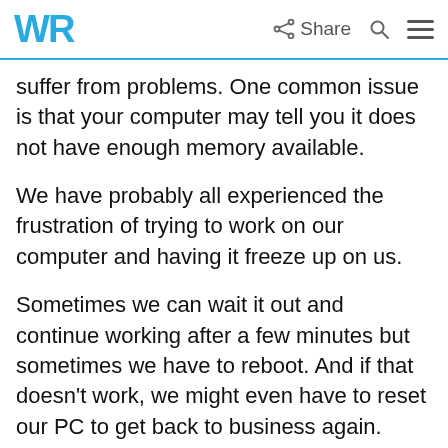WR  Share
suffer from problems. One common issue is that your computer may tell you it does not have enough memory available.
We have probably all experienced the frustration of trying to work on our computer and having it freeze up on us.
Sometimes we can wait it out and continue working after a few minutes but sometimes we have to reboot. And if that doesn't work, we might even have to reset our PC to get back to business again.
But why does this happen? And how can we prevent it from happening again? There are many reasons for a system slowdown or even a crash,